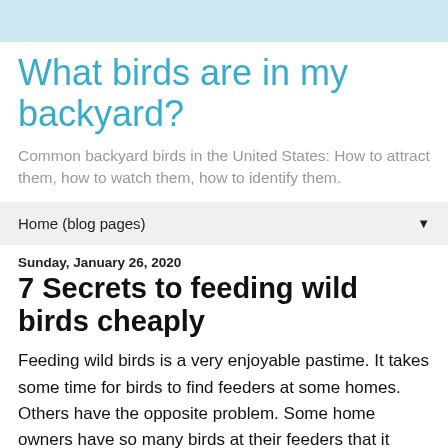What birds are in my backyard?
Common backyard birds in the United States: How to attract them, how to watch them, how to identify them.
Home (blog pages)
Sunday, January 26, 2020
7 Secrets to feeding wild birds cheaply
Feeding wild birds is a very enjoyable pastime. It takes some time for birds to find feeders at some homes. Others have the opposite problem. Some home owners have so many birds at their feeders that it becomes expensive to keep feeding all of them!